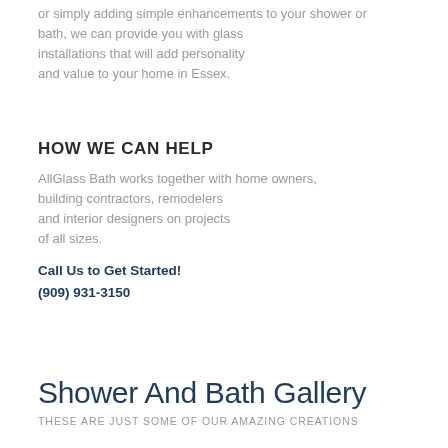or simply adding simple enhancements to your shower or
bath, we can provide you with glass installations that will add personality
and value to your home in Essex.
HOW WE CAN HELP
AllGlass Bath works together with home owners, building contractors, remodelers and interior designers on projects of all sizes.
Call Us to Get Started!
(909) 931-3150
Shower And Bath Gallery
THESE ARE JUST SOME OF OUR AMAZING CREATIONS